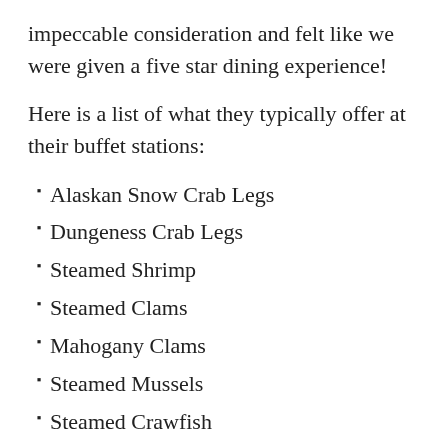impeccable consideration and felt like we were given a five star dining experience!
Here is a list of what they typically offer at their buffet stations:
Alaskan Snow Crab Legs
Dungeness Crab Legs
Steamed Shrimp
Steamed Clams
Mahogany Clams
Steamed Mussels
Steamed Crawfish
Blackened Mahi
Broiled Fish of the Day
Broiled Salmon
Fried Oysters
Fried Scallops
Fried Shrimp